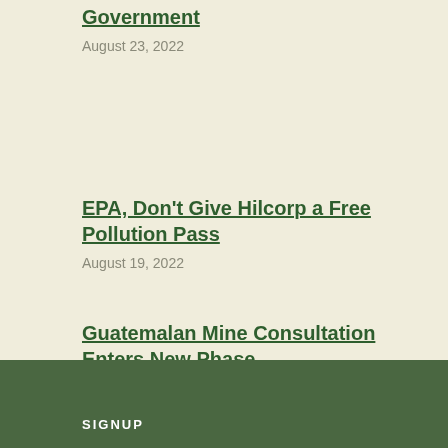Government
August 23, 2022
EPA, Don't Give Hilcorp a Free Pollution Pass
August 19, 2022
Guatemalan Mine Consultation Enters New Phase
August 10, 2022
SIGNUP